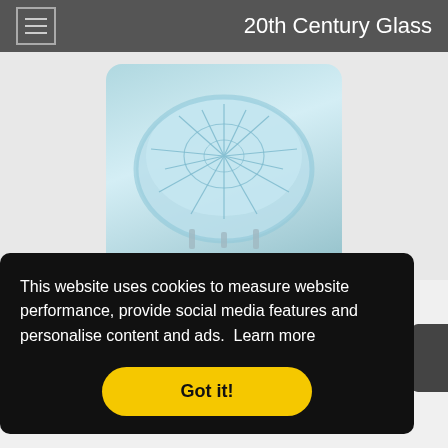20th Century Glass
[Figure (photo): A blue opalescent glass bowl with decorative cut-glass pattern, displayed on a small clear stand against a neutral background]
Davidson Moonshine Pearline Opalescent Glass 'Richelieu' Bowl
This website uses cookies to measure website performance, provide social media features and personalise content and ads.  Learn more
Got it!